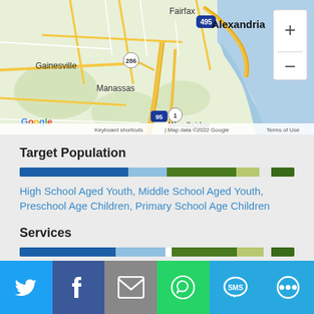[Figure (map): Google Maps screenshot showing Northern Virginia area including Gainesville, Manassas, Fairfax, Alexandria, Woodbridge, with road network and zoom controls. Map data ©2022 Google.]
Target Population
[Figure (infographic): Segmented horizontal progress bar with dark blue, light blue, dark green, light green, white, and mid-green segments representing target population distribution.]
High School Aged Youth, Middle School Aged Youth, Preschool Age Children, Primary School Age Children
Services
[Figure (infographic): Segmented horizontal progress bar with dark blue, light blue, dark green, light green, white, and mid-green segments representing services distribution.]
Student Health Programs
[Figure (infographic): Social sharing bar with Twitter, Facebook, Email, WhatsApp, SMS, and Share buttons.]